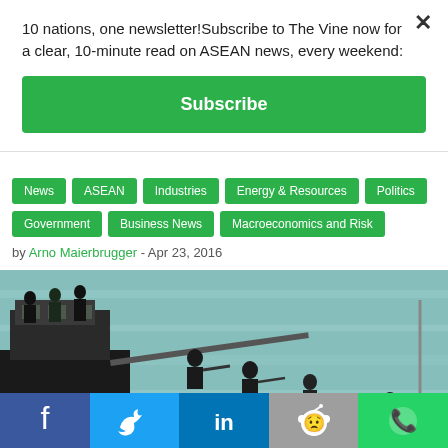10 nations, one newsletter! Subscribe to The Vine now for a clear, 10-minute read on ASEAN news, every weekend:
Subscribe
News
ASEAN
Industries
Energy & Resources
Politics
Government
Business News
Macroeconomics and Risk
by Arno Maierbrugger - Apr 23, 2016
[Figure (photo): Armed tactical officers boarding or approaching a vessel at sea, silhouettes against water background]
Facebook | Twitter | LinkedIn | Reddit | WhatsApp